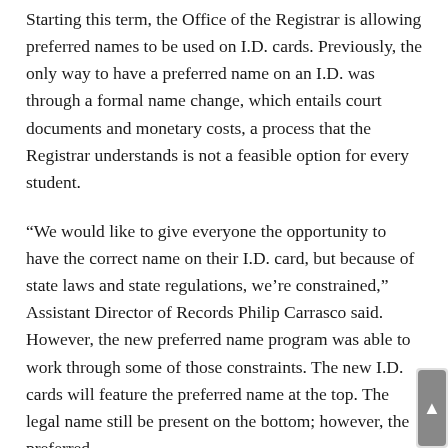Starting this term, the Office of the Registrar is allowing preferred names to be used on I.D. cards. Previously, the only way to have a preferred name on an I.D. was through a formal name change, which entails court documents and monetary costs, a process that the Registrar understands is not a feasible option for every student.
“We would like to give everyone the opportunity to have the correct name on their I.D. card, but because of state laws and state regulations, we’re constrained,” Assistant Director of Records Philip Carrasco said. However, the new preferred name program was able to work through some of those constraints. The new I.D. cards will feature the preferred name at the top. The legal name still be present on the bottom; however, the preferred